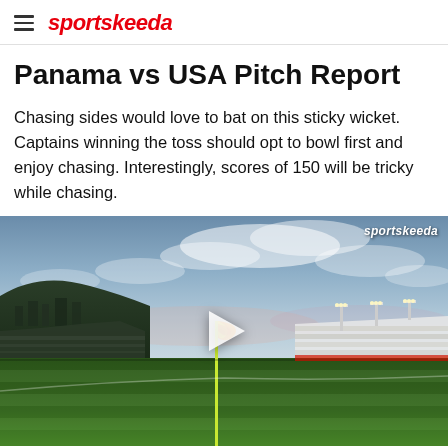sportskeeda
Panama vs USA Pitch Report
Chasing sides would love to bat on this sticky wicket. Captains winning the toss should opt to bowl first and enjoy chasing. Interestingly, scores of 150 will be tricky while chasing.
[Figure (photo): Stadium photo at dusk showing a cricket/sports ground with a corner flag in the foreground, floodlights illuminating the stands, cloudy sky, and hills in the background. A video play button overlay is visible in the center. Sportskeeda watermark in top right.]